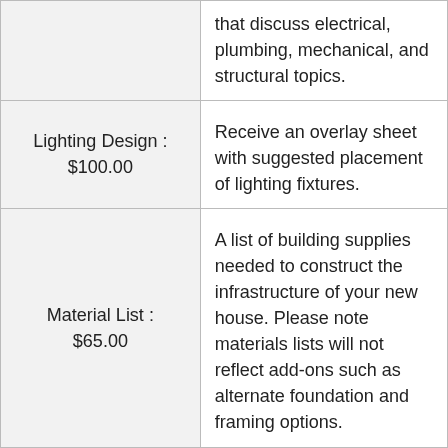|  | that discuss electrical, plumbing, mechanical, and structural topics. |
| Lighting Design : $100.00 | Receive an overlay sheet with suggested placement of lighting fixtures. |
| Material List : $65.00 | A list of building supplies needed to construct the infrastructure of your new house. Please note materials lists will not reflect add-ons such as alternate foundation and framing options. |